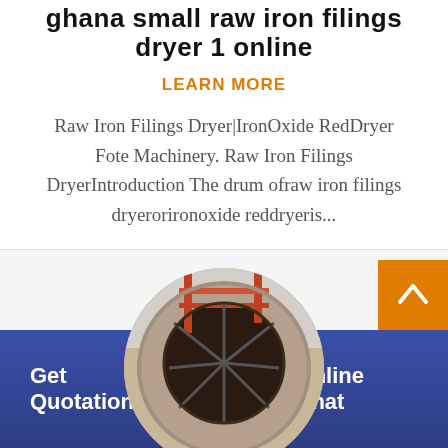ghana small raw iron filings dryer 1 online
LEARN MORE
Raw Iron Filings Dryer|IronOxide RedDryer Fote Machinery. Raw Iron Filings DryerIntroduction The drum ofraw iron filings dryerorironoxide reddryeris...
[Figure (photo): Circular photo of a large industrial drum dryer with metal framework visible inside a tunnel-like structure]
[Figure (photo): Circular portrait of a female customer service agent wearing a headset, smiling]
Get Quotation
Online Chat